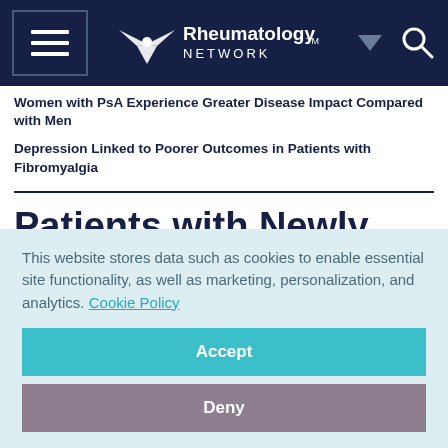[Figure (screenshot): Rheumatology Network website navigation bar with hamburger menu, logo, dropdown arrow, and search icon on dark navy background]
Women with PsA Experience Greater Disease Impact Compared with Men
Depression Linked to Poorer Outcomes in Patients with Fibromyalgia
Patients with Newly
This website stores data such as cookies to enable essential site functionality, as well as marketing, personalization, and analytics. Cookie Policy
Accept
Deny